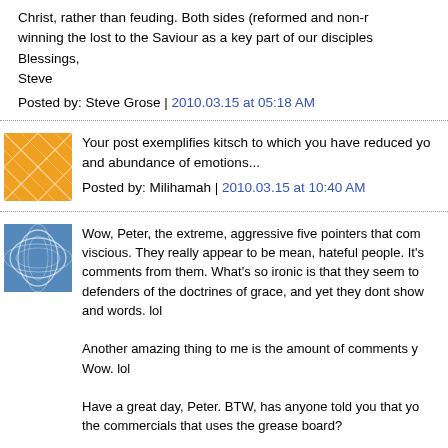Christ, rather than feuding. Both sides (reformed and non-r winning the lost to the Saviour as a key part of our disciples Blessings,
Steve
Posted by: Steve Grose | 2010.03.15 at 05:18 AM
Your post exemplifies kitsch to which you have reduced yo and abundance of emotions...
Posted by: Milihamah | 2010.03.15 at 10:40 AM
Wow, Peter, the extreme, aggressive five pointers that com viscious. They really appear to be mean, hateful people. It's comments from them. What's so ironic is that they seem to defenders of the doctrines of grace, and yet they dont show and words. lol

Another amazing thing to me is the amount of comments y Wow. lol

Have a great day, Peter. BTW, has anyone told you that yo the commercials that uses the grease board?